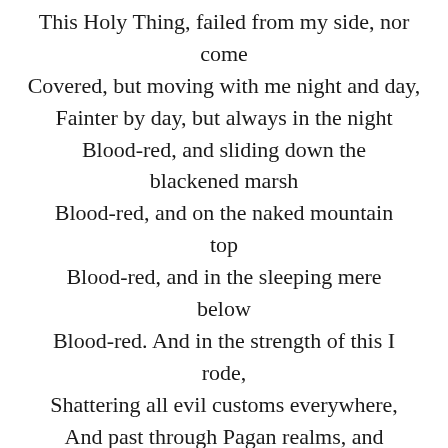This Holy Thing, failed from my side, nor come
Covered, but moving with me night and day,
Fainter by day, but always in the night
Blood-red, and sliding down the blackened marsh
Blood-red, and on the naked mountain top
Blood-red, and in the sleeping mere below
Blood-red. And in the strength of this I rode,
Shattering all evil customs everywhere,
And past through Pagan realms, and